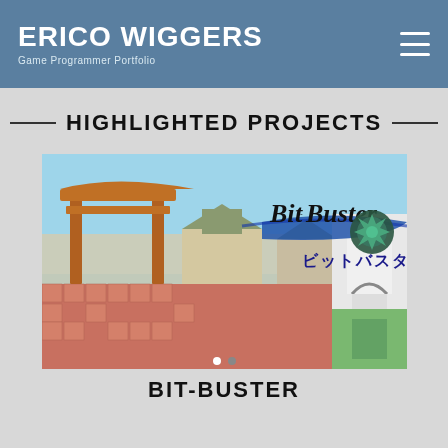ERICO WIGGERS
Game Programmer Portfolio
HIGHLIGHTED PROJECTS
[Figure (screenshot): Game screenshot for Bit-Buster (ビットバスター) showing a 3D torii gate environment with a stylized title logo and Japanese text]
BIT-BUSTER